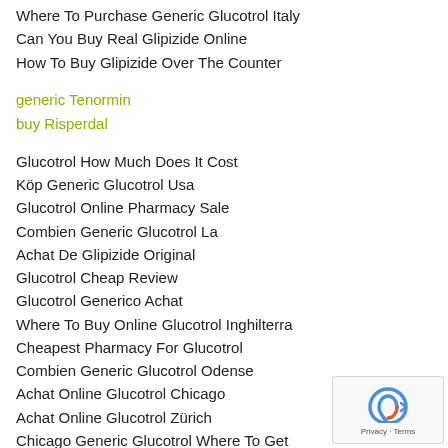Where To Purchase Generic Glucotrol Italy
Can You Buy Real Glipizide Online
How To Buy Glipizide Over The Counter
generic Tenormin
buy Risperdal
Glucotrol How Much Does It Cost
Köp Generic Glucotrol Usa
Glucotrol Online Pharmacy Sale
Combien Generic Glucotrol La
Achat De Glipizide Original
Glucotrol Cheap Review
Glucotrol Generico Achat
Where To Buy Online Glucotrol Inghilterra
Cheapest Pharmacy For Glucotrol
Combien Generic Glucotrol Odense
Achat Online Glucotrol Chicago
Achat Online Glucotrol Zürich
Chicago Generic Glucotrol Where To Get